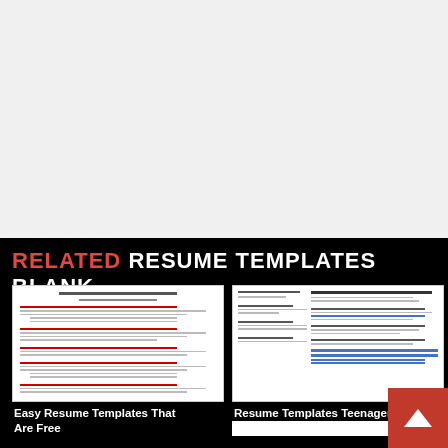RELATED RESUME TEMPLATES BLANK
[Figure (screenshot): Thumbnail screenshot of a resume document titled 'Easy Resume Templates That Are Free']
Easy Resume Templates That Are Free
[Figure (screenshot): Thumbnail screenshot of a two-column resume document titled 'Resume Templates Teenager']
Resume Templates Teenager